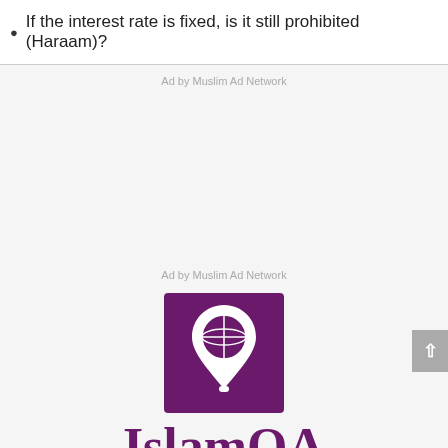If the interest rate is fixed, is it still prohibited (Haraam)?
Ad by Muslim Ad Network
Ad by Muslim Ad Network
[Figure (logo): IslamQA logo: purple square with white globe inside a location pin / lightbulb icon]
IslamQA
93,900+ Answers